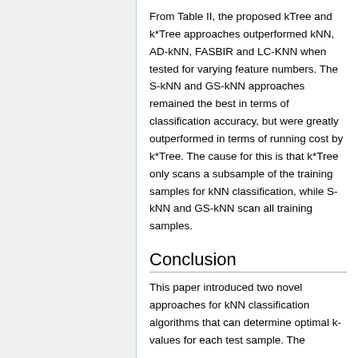From Table II, the proposed kTree and k*Tree approaches outperformed kNN, AD-kNN, FASBIR and LC-KNN when tested for varying feature numbers. The S-kNN and GS-kNN approaches remained the best in terms of classification accuracy, but were greatly outperformed in terms of running cost by k*Tree. The cause for this is that k*Tree only scans a subsample of the training samples for kNN classification, while S-kNN and GS-kNN scan all training samples.
Conclusion
This paper introduced two novel approaches for kNN classification algorithms that can determine optimal k-values for each test sample. The